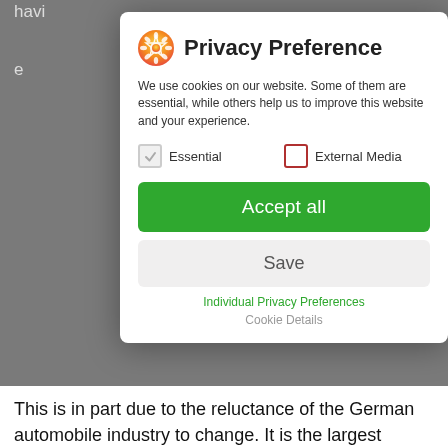havi
e
[Figure (screenshot): Privacy Preference modal dialog with cookie consent options. Contains a flame/star icon, title 'Privacy Preference', descriptive text about cookies, checkboxes for Essential (checked) and External Media (unchecked), an 'Accept all' green button, a 'Save' gray button, and links for 'Individual Privacy Preferences' and 'Cookie Details'.]
This is in part due to the reluctance of the German automobile industry to change. It is the largest